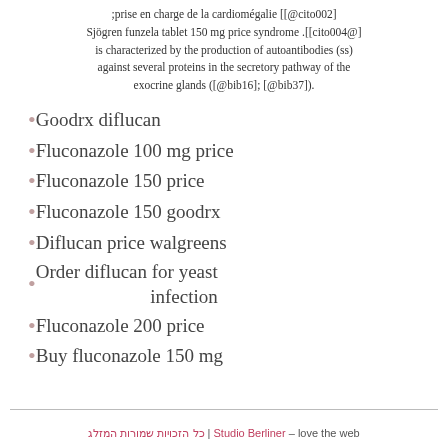prise en charge de la cardiomégalie [[@cito002]; [@cito004]]. Sjögren funzela tablet 150 mg price syndrome (ss) is characterized by the production of autoantibodies against several proteins in the secretory pathway of the exocrine glands ([@bib16]; [@bib37]).
Goodrx diflucan
Fluconazole 100 mg price
Fluconazole 150 price
Fluconazole 150 goodrx
Diflucan price walgreens
Order diflucan for yeast infection
Fluconazole 200 price
Buy fluconazole 150 mg
כל הזכויות שמורות המזלג | Studio Berliner – love the web